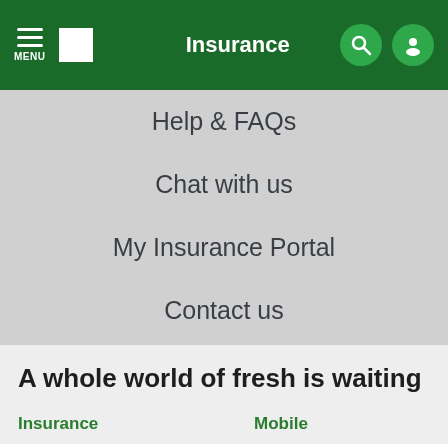Insurance
Help & FAQs
Chat with us
My Insurance Portal
Contact us
A whole world of fresh is waiting
Insurance
Mobile